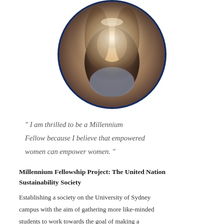[Figure (photo): Circular portrait photo of a woman with long brown hair, wearing a grey blazer, with a navy blue circular border]
" I am thrilled to be a Millennium Fellow because I believe that empowered women can empower women. "
Millennium Fellowship Project: The United Nation Sustainability Society
Establishing a society on the University of Sydney campus with the aim of gathering more like-minded students to work towards the goal of making a